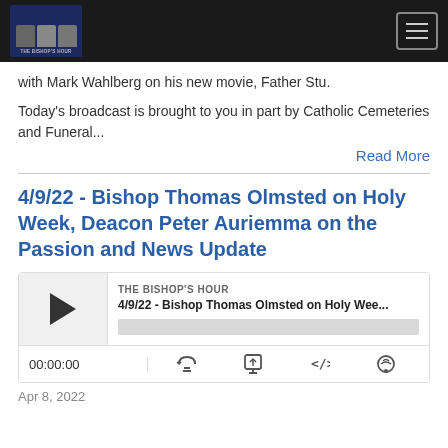The Bishop's Hour - navigation header
with Mark Wahlberg on his new movie, Father Stu.
Today's broadcast is brought to you in part by Catholic Cemeteries and Funeral...
Read More
4/9/22 - Bishop Thomas Olmsted on Holy Week, Deacon Peter Auriemma on the Passion and News Update
[Figure (other): Audio podcast player widget showing episode '4/9/22 - Bishop Thomas Olmsted on Holy Wee...' from THE BISHOP'S HOUR, with play button, progress bar, time display 00:00:00, and controls for RSS, download, embed, and notification]
Apr 8, 2022